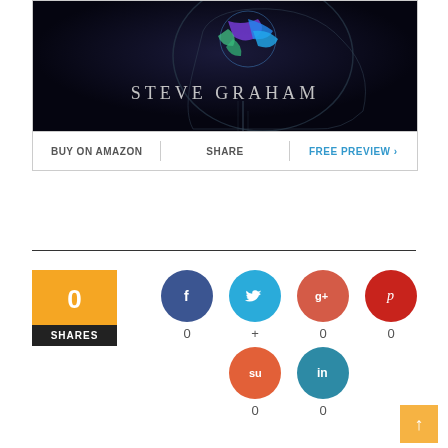[Figure (photo): Book cover showing a glowing brain inside a human skull profile with colorful neural connections, with text 'STEVE GRAHAM' on a dark background]
BUY ON AMAZON | SHARE | FREE PREVIEW >
[Figure (infographic): Social share widget showing 0 shares total, with buttons for Facebook (0), Twitter (+), Google+ (0), Pinterest (0), StumbleUpon (0), LinkedIn (0)]